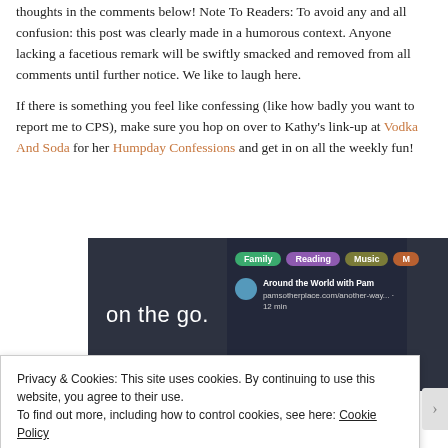thoughts in the comments below! Note To Readers: To avoid any and all confusion: this post was clearly made in a humorous context. Anyone lacking a facetious remark will be swiftly smacked and removed from all comments until further notice. We like to laugh here.
If there is something you feel like confessing (like how badly you want to report me to CPS), make sure you hop on over to Kathy's link-up at Vodka And Soda for her Humpday Confessions and get in on all the weekly fun!
[Figure (screenshot): Dark-themed mobile app screenshot showing 'on the go.' text on left, and right panel with category pills (Family, Reading, Music, and more) and a feed item 'Around the World with Pam']
Privacy & Cookies: This site uses cookies. By continuing to use this website, you agree to their use.
To find out more, including how to control cookies, see here: Cookie Policy
Close and accept